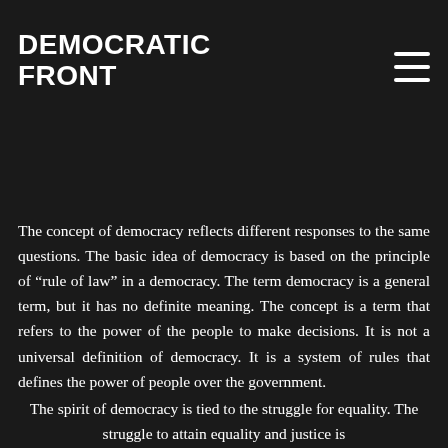DEMOCRATIC FRONT
American politics for more than 150 years. While many constitution is undemocratic, the truth is that democracy in America is a form of capitalism.
The concept of democracy reflects different responses to the same questions. The basic idea of democracy is based on the principle of “rule of law” in a democracy. The term democracy is a general term, but it has no definite meaning. The concept is a term that refers to the power of the people to make decisions. It is not a universal definition of democracy. It is a system of rules that defines the power of people over the government.
The spirit of democracy is tied to the struggle for equality. The struggle to attain equality and justice is